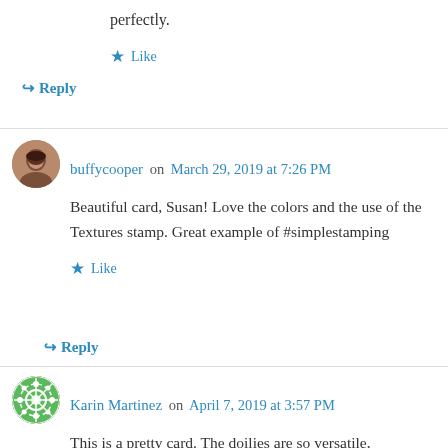perfectly.
★ Like
↳ Reply
buffycooper on March 29, 2019 at 7:26 PM
Beautiful card, Susan! Love the colors and the use of the Textures stamp. Great example of #simplestamping
★ Like
↳ Reply
Karin Martinez on April 7, 2019 at 3:57 PM
This is a pretty card. The doilies are so versatile,